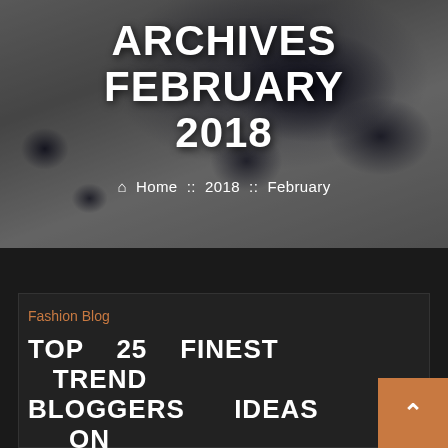[Figure (photo): Dark hero banner with ink splatter / paint splash texture on grey background]
ARCHIVES FEBRUARY 2018
Home :: 2018 :: February
Fashion Blog
TOP 25 FINEST TREND BLOGGERS IDEAS ON PINTEREST